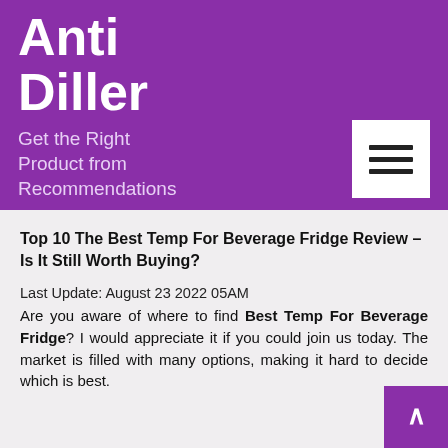Anti Diller
Get the Right Product from Recommendations
[Figure (other): Hamburger menu button (three horizontal lines) on white square background]
Top 10 The Best Temp For Beverage Fridge Review – Is It Still Worth Buying?
Last Update: August 23 2022 05AM
Are you aware of where to find Best Temp For Beverage Fridge? I would appreciate it if you could join us today. The market is filled with many options, making it hard to decide which is best.